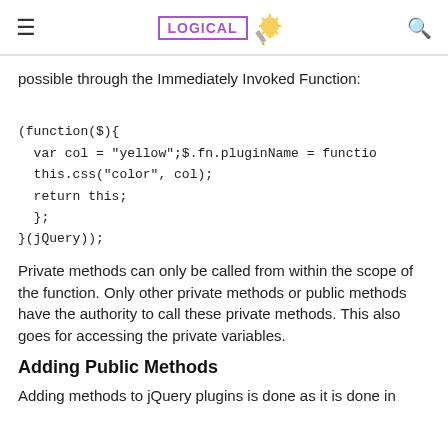LOGICAL [logo]
possible through the Immediately Invoked Function:
Private methods can only be called from within the scope of the function. Only other private methods or public methods have the authority to call these private methods. This also goes for accessing the private variables.
Adding Public Methods
Adding methods to jQuery plugins is done as it is done in